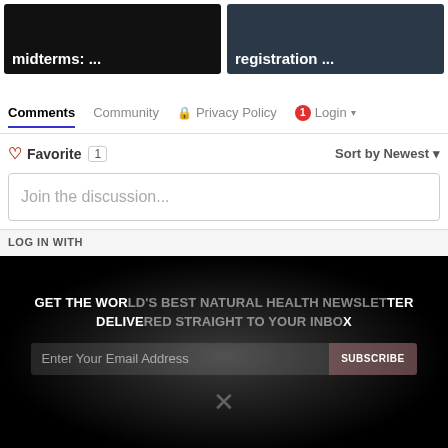[Figure (screenshot): Two news article thumbnail cards side by side. Left card has dark background with bold white text 'midterms: ...'. Right card has dark photo background with bold white text 'registration ...']
Comments  Community  🔒 Privacy Policy  🔴1 Login ▾
♡ Favorite  1    Sort by Newest ▾
Join the discussion...
LOG IN WITH
GET THE WORLD'S BEST NATURAL HEALTH NEWSLETTER DELIVERED STRAIGHT TO YOUR INBOX
Enter Your Email Address
SUBSCRIBE
[Figure (screenshot): Cookie consent popup overlay with text: 'BY CONTINUING TO BROWSE OUR SITE YOU AGREE TO OUR USE OF COOKIES AND OUR PRIVACY POLICY.' with blue PRIVACY POLICY link, X close button, and 'Agree and close' dark button. Below the popup is a white X symbol.]